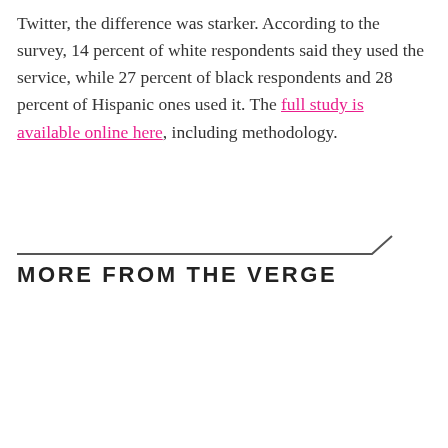Twitter, the difference was starker. According to the survey, 14 percent of white respondents said they used the service, while 27 percent of black respondents and 28 percent of Hispanic ones used it. The full study is available online here, including methodology.
MORE FROM THE VERGE